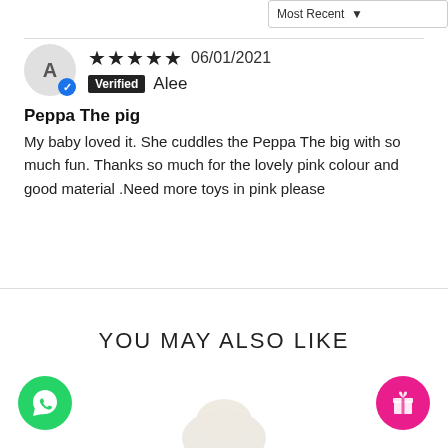Most Recent
★★★★★ 06/01/2021 Verified Alee
Peppa The pig
My baby loved it. She cuddles the Peppa The big with so much fun. Thanks so much for the lovely pink colour and good material .Need more toys in pink please
YOU MAY ALSO LIKE
[Figure (logo): WhatsApp green phone icon button]
[Figure (illustration): Partial toy figure visible at bottom center]
[Figure (logo): Pink gift/reward icon button]